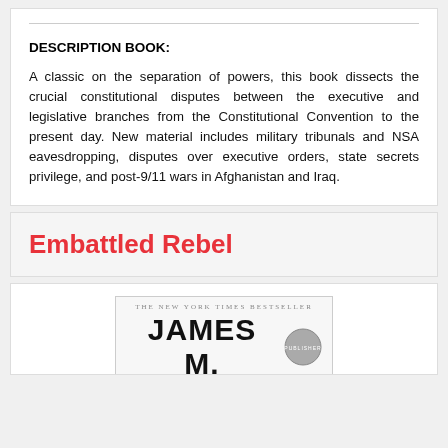DESCRIPTION BOOK:
A classic on the separation of powers, this book dissects the crucial constitutional disputes between the executive and legislative branches from the Constitutional Convention to the present day. New material includes military tribunals and NSA eavesdropping, disputes over executive orders, state secrets privilege, and post-9/11 wars in Afghanistan and Iraq.
Embattled Rebel
[Figure (photo): Book cover image showing 'THE NEW YORK TIMES BESTSELLER' text above 'JAMES M.' in bold large font with a circular publisher logo]